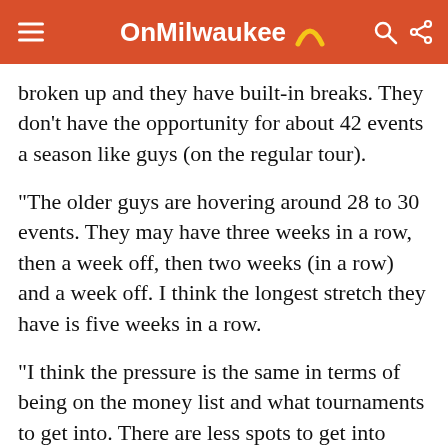OnMilwaukee
broken up and they have built-in breaks. They don't have the opportunity for about 42 events a season like guys (on the regular tour).
"The older guys are hovering around 28 to 30 events. They may have three weeks in a row, then a week off, then two weeks (in a row) and a week off.  I think the longest stretch they have is five weeks in a row.
"I think the pressure is the same in terms of being on the money list and what tournaments to get into. There are less spots to get into there than there are here. The variables are different. But